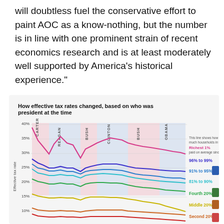will doubtless fuel the conservative effort to paint AOC as a know-nothing, but the number is in line with one prominent strain of recent economics research and is at least moderately well supported by America's historical experience."
[Figure (line-chart): Multi-line chart showing effective tax rates for different income groups (Richest 1%, 96%-99%, 91%-95%, 81%-90%, Fourth 20%, Middle 20%, Second 20%) from roughly 1979 to mid-2010s, with shaded regions for each presidential administration. Rates generally decline over time for most groups.]